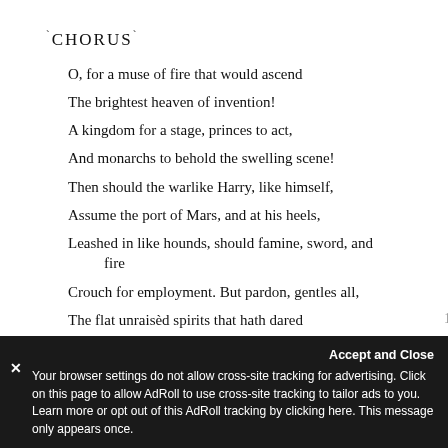CHORUS
O, for a muse of fire that would ascend
The brightest heaven of invention!
A kingdom for a stage, princes to act,
And monarchs to behold the swelling scene!
Then should the warlike Harry, like himself,  5
Assume the port of Mars, and at his heels,
Leashed in like hounds, should famine, sword, and fire
Crouch for employment. But pardon, gentles all,
The flat unraisèd spirits that hath dared  10
On this unworthy scaffold to bring forth
So great an object. Can this cockpit hold
The vasty fields of France? Or may we cram
Within this wooden O the very casques
Your browser settings do not allow cross-site tracking for advertising. Click on this page to allow AdRoll to use cross-site tracking to tailor ads to you. Learn more or opt out of this AdRoll tracking by clicking here. This message only appears once.